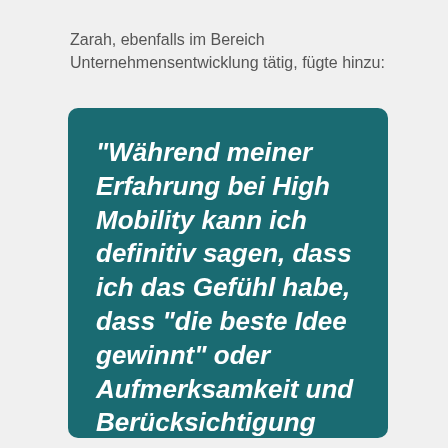Zarah, ebenfalls im Bereich Unternehmensentwicklung tätig, fügte hinzu:
"Während meiner Erfahrung bei High Mobility kann ich definitiv sagen, dass ich das Gefühl habe, dass "die beste Idee gewinnt" oder Aufmerksamkeit und Berücksichtigung